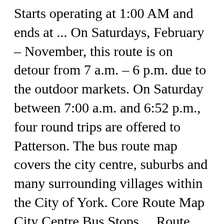Starts operating at 1:00 AM and ends at ... On Saturdays, February – November, this route is on detour from 7 a.m. – 6 p.m. due to the outdoor markets. On Saturday between 7:00 a.m. and 6:52 p.m., four round trips are offered to Patterson. The bus route map covers the city centre, suburbs and many surrounding villages within the City of York. Core Route Map City Centre Bus Stops ... Route Variations. The Most Popular Urban Mobility App in Hong Kong. Route 40. No reviews. Route 40. Regular schedule hours: 12:00 AM - 11:55 PM. Transit Services. Bus Map. Trip planner → List of routes → Bus route 40 on the map of London. Map Map. See why over